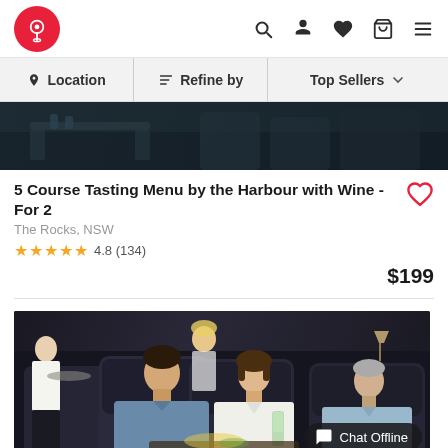Navigation bar with logo, search, profile, wishlist, cart, menu icons
Location | Refine by | Top Sellers
[Figure (photo): Partial view of a harbour-side restaurant with tables and chairs, dark ambiance]
5 Course Tasting Menu by the Harbour with Wine - For 2
The Rocks, NSW
★★★★★ 4.8 (134)
$199
[Figure (photo): Cinema dining scene with people seated in luxury recliner chairs, a man and woman smiling, an older man in background, and a server in white shirt carrying a tray]
Chat Offline